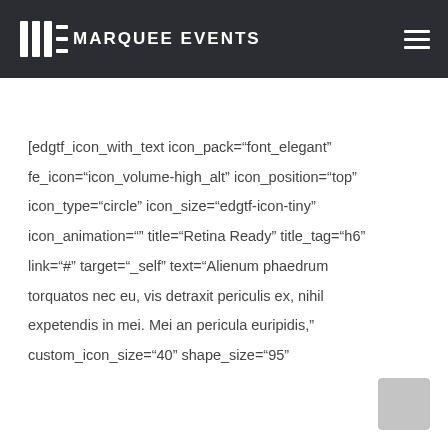MARQUEE EVENTS
[edgtf_icon_with_text icon_pack="font_elegant" fe_icon="icon_volume-high_alt" icon_position="top" icon_type="circle" icon_size="edgtf-icon-tiny" icon_animation="" title="Retina Ready" title_tag="h6" link="#" target="_self" text="Alienum phaedrum torquatos nec eu, vis detraxit periculis ex, nihil expetendis in mei. Mei an pericula euripidis," custom_icon_size="40" shape_size="95"